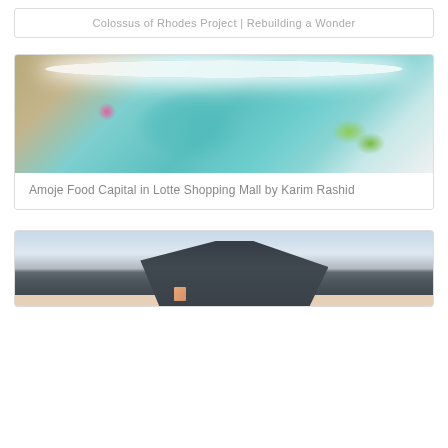Colossus of Rhodes Project | Rebuilding a Wonder
[Figure (photo): Interior of Amoje Food Capital in Lotte Shopping Mall designed by Karim Rashid — futuristic space with large teal pod-like structure, white glowing ring ceiling, and green molded chairs]
Amoje Food Capital in Lotte Shopping Mall by Karim Rashid
[Figure (photo): Modern dark angular architecture building with glowing orange square windows set against a dramatic cloudy sunset sky with hills in the background]